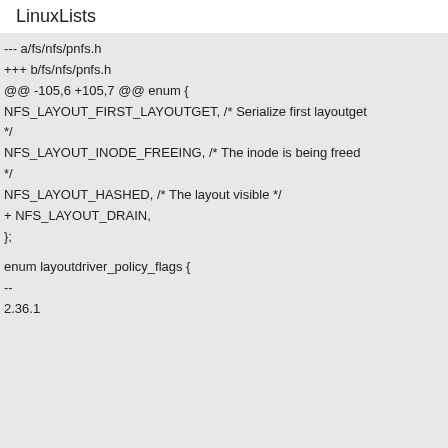LinuxLists
--- a/fs/nfs/pnfs.h
+++ b/fs/nfs/pnfs.h
@@ -105,6 +105,7 @@ enum {
NFS_LAYOUT_FIRST_LAYOUTGET, /* Serialize first layoutget
*/
NFS_LAYOUT_INODE_FREEING, /* The inode is being freed
*/
NFS_LAYOUT_HASHED, /* The layout visible */
+ NFS_LAYOUT_DRAIN,
};

enum layoutdriver_policy_flags {
--
2.36.1